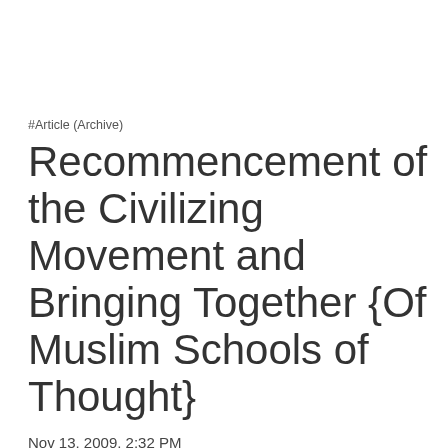#Article (Archive)
Recommencement of the Civilizing Movement and Bringing Together {Of Muslim Schools of Thought}
Nov 13, 2009, 2:32 PM
The fourth one who was Hisham b.al-Hakam al-Kufi, the leader of Shiites and a great artist, said: "O Vizier! Law is